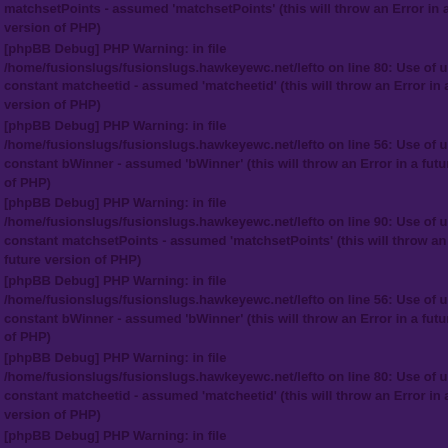matchsetPoints - assumed 'matchsetPoints' (this will throw an Error in a future version of PHP)
[phpBB Debug] PHP Warning: in file /home/fusionslugs/fusionslugs.hawkeyewc.net/lefto on line 80: Use of undefined constant matcheetid - assumed 'matcheetid' (this will throw an Error in a future version of PHP)
[phpBB Debug] PHP Warning: in file /home/fusionslugs/fusionslugs.hawkeyewc.net/lefto on line 56: Use of undefined constant bWinner - assumed 'bWinner' (this will throw an Error in a future version of PHP)
[phpBB Debug] PHP Warning: in file /home/fusionslugs/fusionslugs.hawkeyewc.net/lefto on line 90: Use of undefined constant matchsetPoints - assumed 'matchsetPoints' (this will throw an Error in a future version of PHP)
[phpBB Debug] PHP Warning: in file /home/fusionslugs/fusionslugs.hawkeyewc.net/lefto on line 56: Use of undefined constant bWinner - assumed 'bWinner' (this will throw an Error in a future version of PHP)
[phpBB Debug] PHP Warning: in file /home/fusionslugs/fusionslugs.hawkeyewc.net/lefto on line 80: Use of undefined constant matcheetid - assumed 'matcheetid' (this will throw an Error in a future version of PHP)
[phpBB Debug] PHP Warning: in file /home/fusionslugs/fusionslugs.hawkeyewc.net/lefto on line 56: Use of undefined constant bWinner -